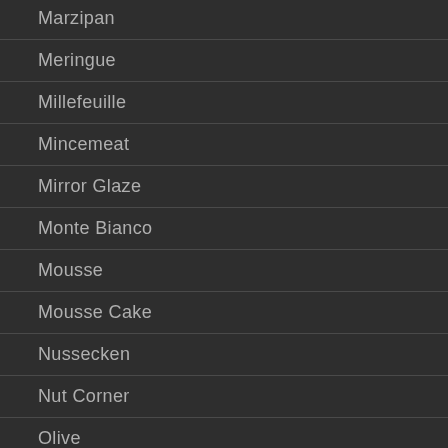Marzipan
Meringue
Millefeuille
Mincemeat
Mirror Glaze
Monte Bianco
Mousse
Mousse Cake
Nussecken
Nut Corner
Olive